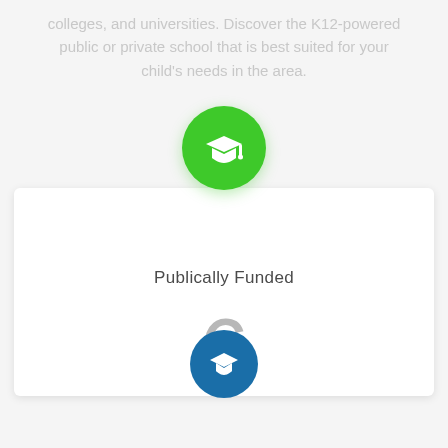colleges, and universities. Discover the K12-powered public or private school that is best suited for your child's needs in the area.
[Figure (infographic): Green circular icon with white graduation cap, above a white card showing 'Publically Funded' label and the number 6. Below the card is a partial blue circular icon.]